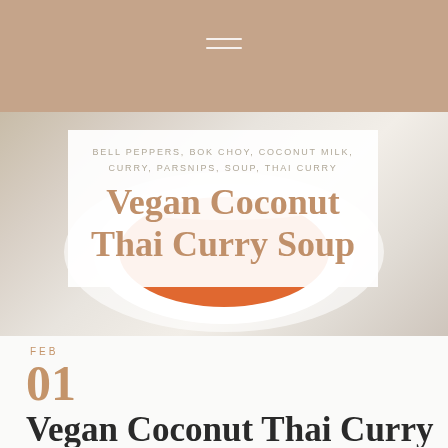Navigation menu (hamburger icon)
BELL PEPPERS, BOK CHOY, COCONUT MILK, CURRY, PARSNIPS, SOUP, THAI CURRY
Vegan Coconut Thai Curry Soup
[Figure (photo): Overhead/close-up photo of a white bowl containing orange-red Thai curry soup, with green peas and leafy herbs scattered around on a white wooden surface.]
FEB
01
Vegan Coconut Thai Curry